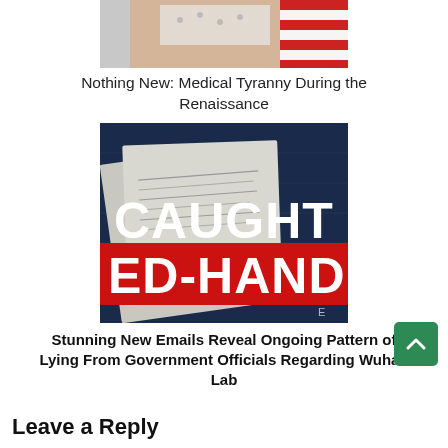[Figure (photo): Partial image of a person's face/head with red and white stripes visible (flag), cropped at top]
Nothing New: Medical Tyranny During the Renaissance
[Figure (photo): Book/graphic cover showing documents with text 'CAUGHT RED-HANDED' in large letters, white and red on dark blue background]
Stunning New Emails Reveal Ongoing Pattern of Lying From Government Officials Regarding Wuhan Lab
Leave a Reply